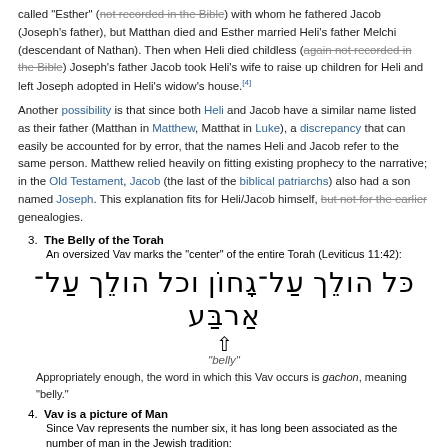called 'Esther' (not recorded in the Bible) with whom he fathered Jacob (Joseph's father), but Matthan died and Esther married Heli's father Melchi (descendant of Nathan). Then when Heli died childless (again not recorded in the Bible) Joseph's father Jacob took Heli's wife to raise up children for Heli and left Joseph adopted in Heli's widow's house.[4]
Another possibility is that since both Heli and Jacob have a similar name listed as their father (Matthan in Matthew, Matthat in Luke), a discrepancy that can easily be accounted for by error, that the names Heli and Jacob refer to the same person. Matthew relied heavily on fitting existing prophecy to the narrative; in the Old Testament, Jacob (the last of the biblical patriarchs) also had a son named Joseph. This explanation fits for Heli/Jacob himself, but not for the earlier genealogies.
3. The Belly of the Torah — An oversized Vav marks the "center" of the entire Torah (Leviticus 11:42):
[Figure (other): Hebrew text from Leviticus 11:42 with an arrow pointing up to the word 'gachon' (belly), captioned 'belly']
Appropriately enough, the word in which this Vav occurs is gachon, meaning "belly."
4. Vav is a picture of Man — Since Vav represents the number six, it has long been associated as the number of man in the Jewish tradition:
Man was created on the sixth day
Man works for six days - the realm of the chol and the mundane